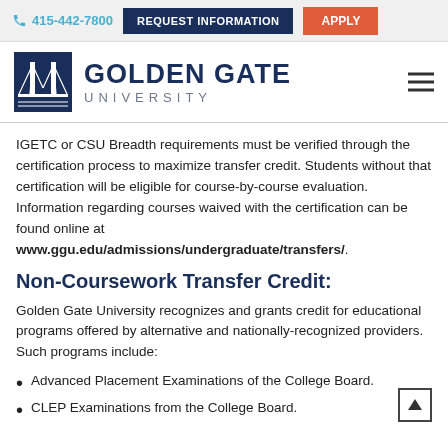415-442-7800  REQUEST INFORMATION  APPLY
[Figure (logo): Golden Gate University logo with bridge icon and text 'GOLDEN GATE UNIVERSITY']
IGETC or CSU Breadth requirements must be verified through the certification process to maximize transfer credit. Students without that certification will be eligible for course-by-course evaluation. Information regarding courses waived with the certification can be found online at www.ggu.edu/admissions/undergraduate/transfers/.
Non-Coursework Transfer Credit:
Golden Gate University recognizes and grants credit for educational programs offered by alternative and nationally-recognized providers. Such programs include:
Advanced Placement Examinations of the College Board.
CLEP Examinations from the College Board.